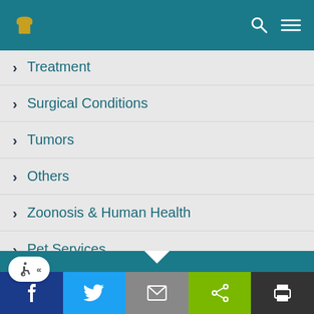Navigation header with logo and search/menu icons
Treatment
Surgical Conditions
Tumors
Others
Zoonosis & Human Health
Pet Services
Social share bar: Facebook, Twitter, Email, Share, Print